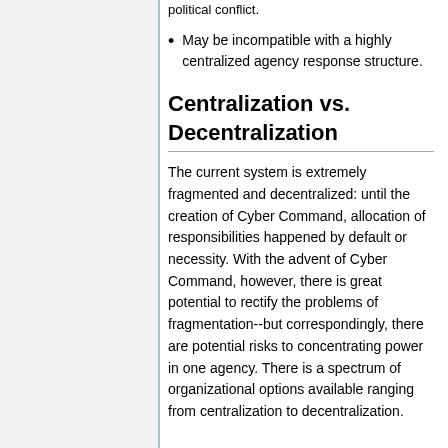political conflict.
May be incompatible with a highly centralized agency response structure.
Centralization vs. Decentralization
The current system is extremely fragmented and decentralized: until the creation of Cyber Command, allocation of responsibilities happened by default or necessity. With the advent of Cyber Command, however, there is great potential to rectify the problems of fragmentation--but correspondingly, there are potential risks to concentrating power in one agency. There is a spectrum of organizational options available ranging from centralization to decentralization.